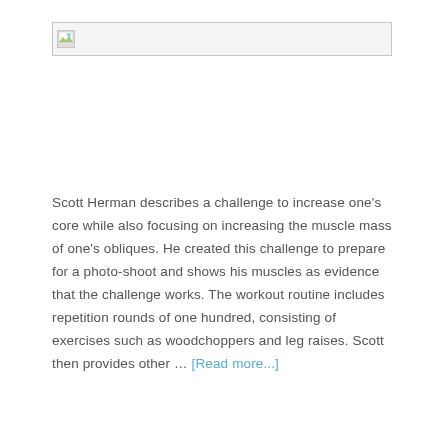[Figure (other): Broken image placeholder with small image icon on left side]
Scott Herman describes a challenge to increase one's core while also focusing on increasing the muscle mass of one's obliques. He created this challenge to prepare for a photo-shoot and shows his muscles as evidence that the challenge works. The workout routine includes repetition rounds of one hundred, consisting of exercises such as woodchoppers and leg raises. Scott then provides other … [Read more...]